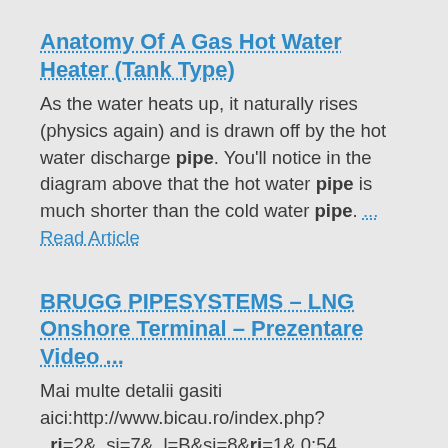Anatomy Of A Gas Hot Water Heater (Tank Type)
As the water heats up, it naturally rises (physics again) and is drawn off by the hot water discharge pipe. You'll notice in the diagram above that the hot water pipe is much shorter than the cold water pipe. ... Read Article
BRUGG PIPESYSTEMS – LNG Onshore Terminal – Prezentare Video ...
Mai multe detalii gasiti aici:http://www.bicau.ro/index.php?_ri=2&_si=7&_l=B&si=8&ri=1& 0:54